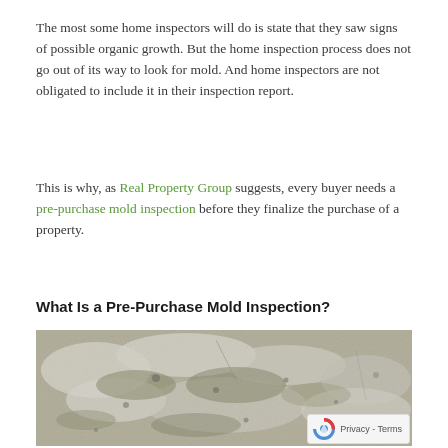The most some home inspectors will do is state that they saw signs of possible organic growth. But the home inspection process does not go out of its way to look for mold. And home inspectors are not obligated to include it in their inspection report.
This is why, as Real Property Group suggests, every buyer needs a pre-purchase mold inspection before they finalize the purchase of a property.
What Is a Pre-Purchase Mold Inspection?
[Figure (photo): Close-up photograph of a wall surface showing mold, peeling paint, and organic growth with mottled gray, white, and greenish-brown patches.]